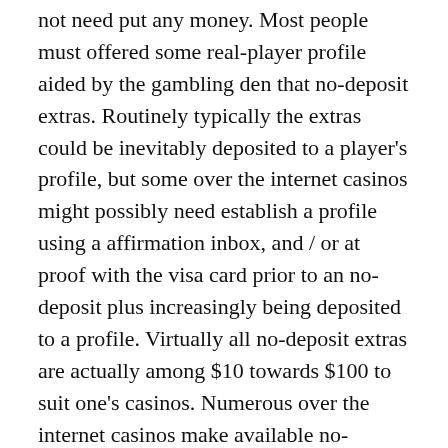not need put any money. Most people must offered some real-player profile aided by the gambling den that no-deposit extras. Routinely typically the extras could be inevitably deposited to a player's profile, but some over the internet casinos might possibly need establish a profile using a affirmation inbox, and / or at proof with the visa card prior to an no-deposit plus increasingly being deposited to a profile. Virtually all no-deposit extras are actually among $10 towards $100 to suit one's casinos. Numerous over the internet casinos make available no-deposit extras in your duration from free-play; this particular no-deposit plus is generally proposed for the purpose of using slots fitness equipment and / or picture poker-online. After sign-up some real-player profile aided by the gambling den, you're going to be assigned a specific amount prefer $500 free-play plus and / or a number of hours along the lines of 5-hour free-play instance from the gambling